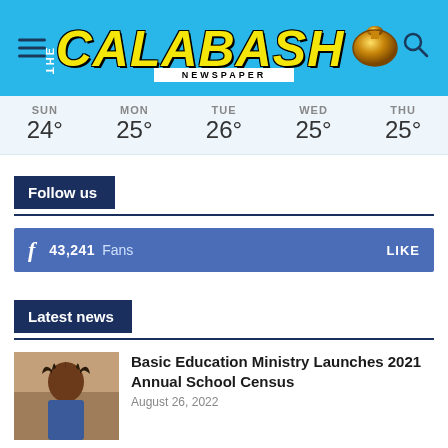[Figure (logo): The Calabash Newspaper logo with yellow bold italic CALABASH text on cyan background with golden calabash icon]
| SUN | MON | TUE | WED | THU |
| --- | --- | --- | --- | --- |
| 24° | 25° | 26° | 25° | 25° |
Follow us
43,241  Fans  LIKE
Latest news
[Figure (photo): Thumbnail photo of a person with dreadlocks]
Basic Education Ministry Launches 2021 Annual School Census
August 26, 2022